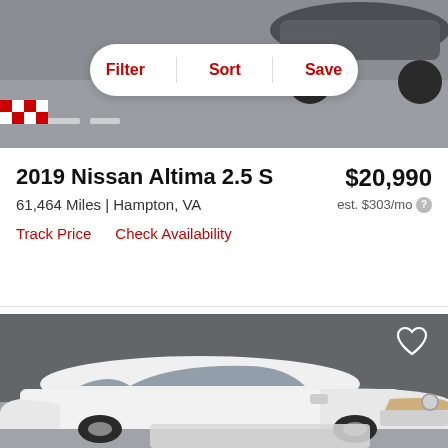[Figure (photo): Top portion showing a dark-colored car (likely a Nissan Altima) on a road with a white pill-shaped toolbar overlay showing Filter, Sort, Save buttons in red]
2019 Nissan Altima 2.5 S
$20,990
61,464 Miles | Hampton, VA
est. $303/mo
Track Price
Check Availability
[Figure (photo): White Nissan Altima sedan photographed from a front-side angle against a dark grey wall background, with a heart/favorite icon in the top right corner and a light grey blurred area at the bottom]